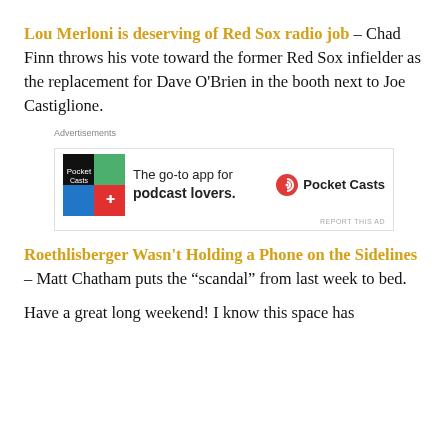Lou Merloni is deserving of Red Sox radio job – Chad Finn throws his vote toward the former Red Sox infielder as the replacement for Dave O'Brien in the booth next to Joe Castiglione.
[Figure (other): Advertisement banner for Pocket Casts app: 'The go-to app for podcast lovers.' with Pocket Casts logo and colorful grid icon.]
Roethlisberger Wasn't Holding a Phone on the Sidelines – Matt Chatham puts the "scandal" from last week to bed.
Have a great long weekend! I know this space has